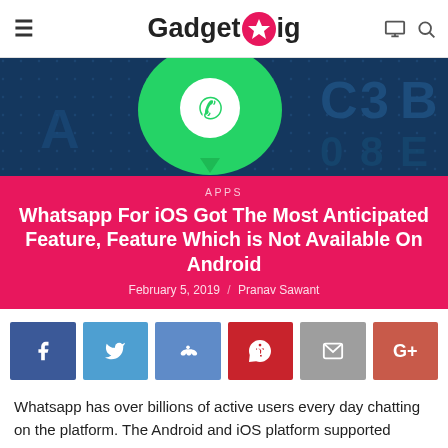GadgetGig
[Figure (photo): WhatsApp logo on a dark digital background with circuit board elements]
APPS
Whatsapp For iOS Got The Most Anticipated Feature, Feature Which is Not Available On Android
February 5, 2019 / Pranav Sawant
[Figure (infographic): Social share buttons: Facebook, Twitter, Reddit, Pinterest, Email, Google+]
Whatsapp has over billions of active users every day chatting on the platform. The Android and iOS platform supported Whatsapp has been adding a lot of security features and updates to the application, but now the company has rolled out the most